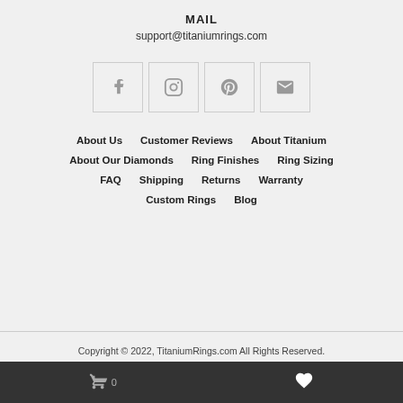MAIL
support@titaniumrings.com
[Figure (other): Social media icons: Facebook, Instagram, Pinterest, Email/Mail]
About Us
Customer Reviews
About Titanium
About Our Diamonds
Ring Finishes
Ring Sizing
FAQ
Shipping
Returns
Warranty
Custom Rings
Blog
Copyright © 2022, TitaniumRings.com All Rights Reserved.